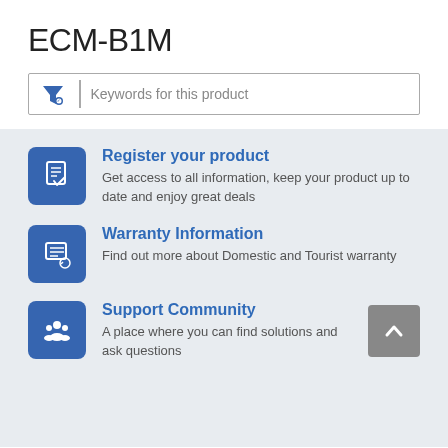ECM-B1M
[Figure (screenshot): Search filter box with funnel icon and placeholder text 'Keywords for this product']
Register your product – Get access to all information, keep your product up to date and enjoy great deals
Warranty Information – Find out more about Domestic and Tourist warranty
Support Community – A place where you can find solutions and ask questions